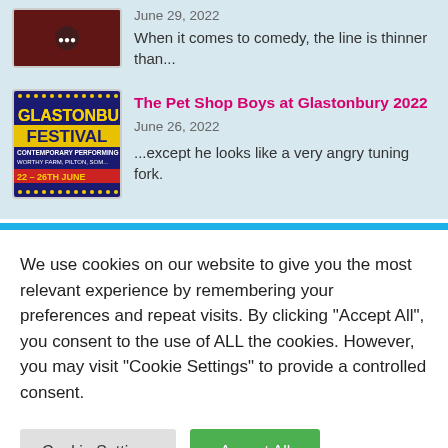[Figure (photo): Partial thumbnail image of a comedy article, dark reddish background]
June 29, 2022
When it comes to comedy, the line is thinner than...
[Figure (photo): Glastonbury Festival promotional poster with colorful text: GLASTONBURY FESTIVAL CONTEMPORARY PERFORMING ARTS, WORTHY FARM, PILTON, SOMERSET, 22-26TH JUNE]
The Pet Shop Boys at Glastonbury 2022
June 26, 2022
...except he looks like a very angry tuning fork.
We use cookies on our website to give you the most relevant experience by remembering your preferences and repeat visits. By clicking "Accept All", you consent to the use of ALL the cookies. However, you may visit "Cookie Settings" to provide a controlled consent.
Cookie Settings
Accept All